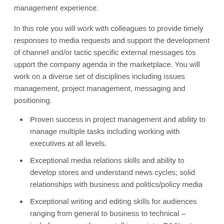management experience.
In this role you will work with colleagues to provide timely responses to media requests and support the development of channel and/or tactic specific external messages tos upport the company agenda in the marketplace.  You will work on a diverse set of disciplines including issues management, project management, messaging and positioning.
Proven success in project management and ability to manage multiple tasks including working with executives at all levels.
Exceptional media relations skills and ability to develop stores and understand news cycles;  solid relationships with business and politics/policy media
Exceptional writing and editing skills for audiences ranging from general to business to technical – including press releases, talking points, Q&A's etc.
Strong business acumen
Ability to execute strategic PR and communications